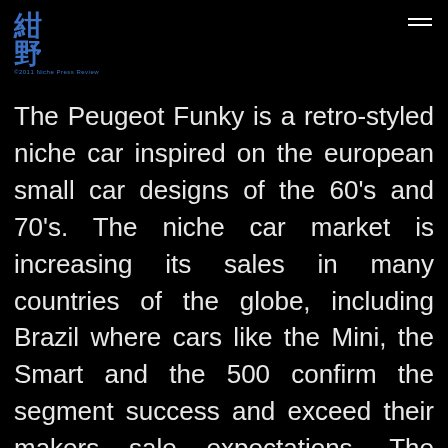紺野 niche Press Review
The Peugeot Funky is a retro-styled niche car inspired on the european small car designs of the 60's and 70's. The niche car market is increasing its sales in many countries of the globe, including Brazil where cars like the Mini, the Smart and the 500 confirm the segment success and exceed their makers sale expectations. The niche car recipie is mainly based on distinctive design and style plus focus on the city driving environment. Targeted to youngsters, it is also intended to strike the hearts of older enthusiasts. The Funky was totally created within AliasStudio, no previous 2D manual or digital ideation was done, only curves and surfaces from scratch